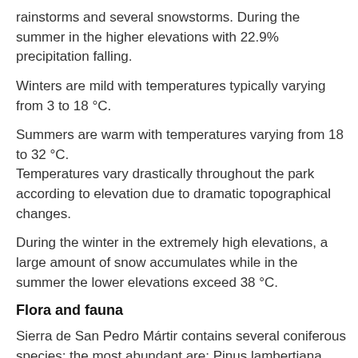rainstorms and several snowstorms. During the summer in the higher elevations with 22.9% precipitation falling.
Winters are mild with temperatures typically varying from 3 to 18 °C.
Summers are warm with temperatures varying from 18 to 32 °C.
Temperatures vary drastically throughout the park according to elevation due to dramatic topographical changes.
During the winter in the extremely high elevations, a large amount of snow accumulates while in the summer the lower elevations exceed 38 °C.
Flora and fauna
Sierra de San Pedro Mártir contains several coniferous species; the most abundant are: Pinus lambertiana, Pinus quadrifolia, Pinus jeffreyi, Abies concolor, and species of